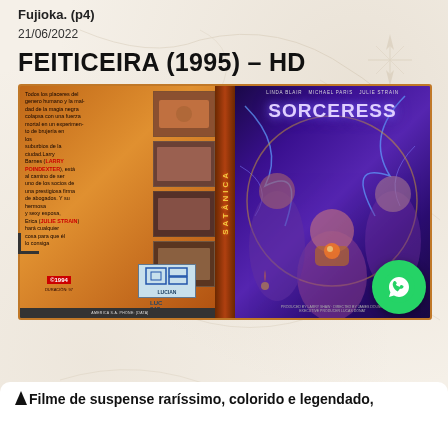Fujioka. (p4)
21/06/2022
FEITICEIRA (1995) – HD
[Figure (photo): VHS movie cover for 'Sorceress' (1995), showing the Brazilian VHS release with Spanish text on the left panel describing the plot, vertical spine reading 'SATÂNICA', and the right panel showing the English 'SORCERESS' movie poster with three women characters surrounded by mystical lightning and a pentagram. A green WhatsApp button appears in the bottom right corner.]
Filme de suspense raríssimo, colorido e legendado,